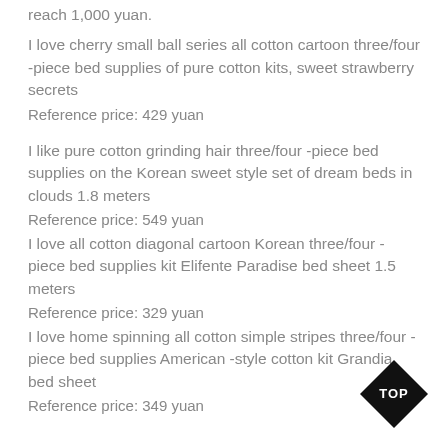reach 1,000 yuan.
I love cherry small ball series all cotton cartoon three/four -piece bed supplies of pure cotton kits, sweet strawberry secrets
Reference price: 429 yuan
I like pure cotton grinding hair three/four -piece bed supplies on the Korean sweet style set of dream beds in clouds 1.8 meters
Reference price: 549 yuan
I love all cotton diagonal cartoon Korean three/four -piece bed supplies kit Elifente Paradise bed sheet 1.5 meters
Reference price: 329 yuan
I love home spinning all cotton simple stripes three/four -piece bed supplies American -style cotton kit Grandia bed sheet
Reference price: 349 yuan
[Figure (illustration): Black diamond/rhombus shape badge with 'TOP' text in white]